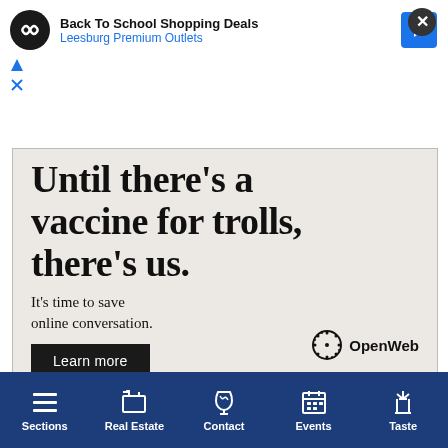[Figure (screenshot): Advertisement banner: Back To School Shopping Deals from Leesburg Premium Outlets with sponsor icon and navigation arrow]
[Figure (screenshot): OpenWeb advertisement: 'Until there's a vaccine for trolls, there's us. It's time to save online conversation.' with Learn more button and OpenWeb logo on beige background]
AdChoices  Sponsored
Sections | Real Estate | Contact | Events | Taste